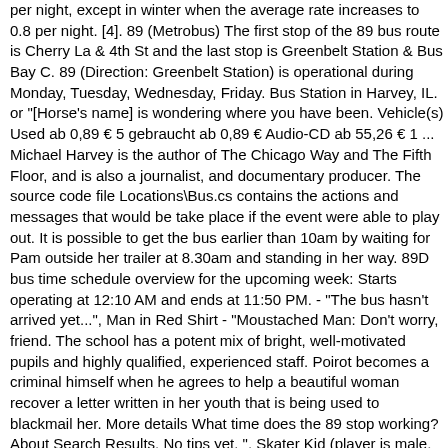per night, except in winter when the average rate increases to 0.8 per night. [4]. 89 (Metrobus) The first stop of the 89 bus route is Cherry La & 4th St and the last stop is Greenbelt Station & Bus Bay C. 89 (Direction: Greenbelt Station) is operational during Monday, Tuesday, Wednesday, Friday. Bus Station in Harvey, IL. or "[Horse's name] is wondering where you have been. Vehicle(s) Used ab 0,89 € 5 gebraucht ab 0,89 € Audio-CD ab 55,26 € 1 ... Michael Harvey is the author of The Chicago Way and The Fifth Floor, and is also a journalist, and documentary producer. The source code file Locations\Bus.cs contains the actions and messages that would be take place if the event were able to play out. It is possible to get the bus earlier than 10am by waiting for Pam outside her trailer at 8.30am and standing in her way. 89D bus time schedule overview for the upcoming week: Starts operating at 12:10 AM and ends at 11:50 PM. - "The bus hasn't arrived yet...", Man in Red Shirt - "Moustached Man: Don't worry, friend. The school has a potent mix of bright, well-motivated pupils and highly qualified, experienced staff. Poirot becomes a criminal himself when he agrees to help a beautiful woman recover a letter written in her youth that is being used to blackmail her. More details What time does the 89 stop working? About Search Results. No tips yet. ", Skater Kid (player is male, 2) - "Kid: 'Sup? towards Ruislip Gardens. 89 . We're almost there. First: 07:53: Last : 08:03: View 696 timetable View all stops on 696 route. https://uktransport.fandom.com/wiki/London_Buses_route_89?oldid=23085. Purchasing a ticket at the machine triggers the bus to take Th